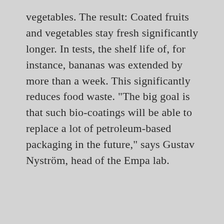vegetables. The result: Coated fruits and vegetables stay fresh significantly longer. In tests, the shelf life of, for instance, bananas was extended by more than a week. This significantly reduces food waste. "The big goal is that such bio-coatings will be able to replace a lot of petroleum-based packaging in the future," says Gustav Nyström, head of the Empa lab.